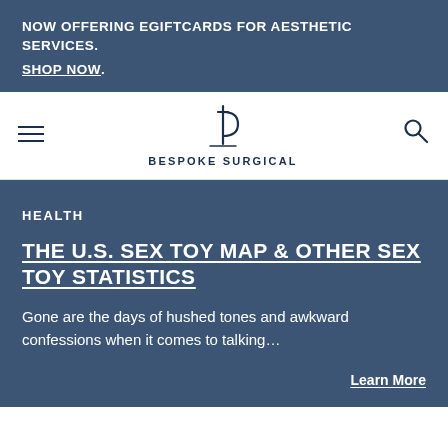NOW OFFERING EGIFTCARDS FOR AESTHETIC SERVICES. SHOP NOW.
[Figure (logo): Bespoke Surgical logo with stylized 'b' symbol and hamburger menu and search icon navigation bar]
HEALTH
THE U.S. SEX TOY MAP & OTHER SEX TOY STATISTICS
Gone are the days of hushed tones and awkward confessions when it comes to talking…
Learn More